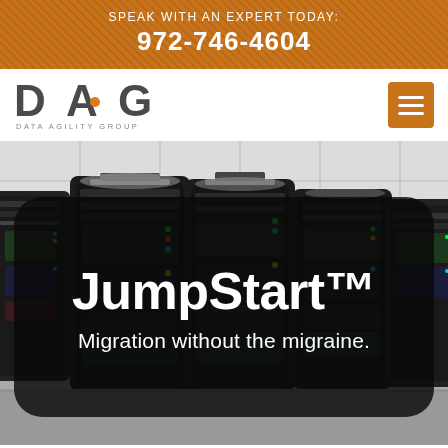SPEAK WITH AN EXPERT TODAY:
972-746-4604
[Figure (logo): DAG Data Agility Group logo in dark gray with orange accent]
[Figure (illustration): Orange hamburger menu button icon]
[Figure (photo): Server racks in a data center, hero background image]
JumpStart™
Migration without the migraine.